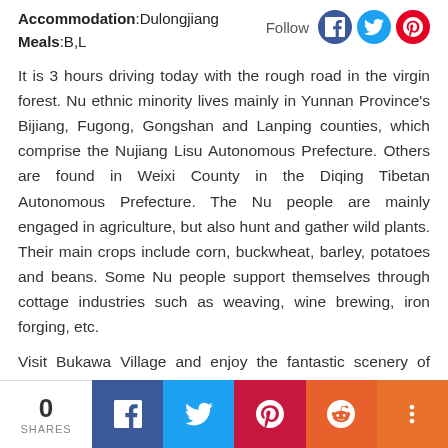Accommodation:Dulongjiang
Meals:B,L
It is 3 hours driving today with the rough road in the virgin forest. Nu ethnic minority lives mainly in Yunnan Province's Bijiang, Fugong, Gongshan and Lanping counties, which comprise the Nujiang Lisu Autonomous Prefecture. Others are found in Weixi County in the Diqing Tibetan Autonomous Prefecture. The Nu people are mainly engaged in agriculture, but also hunt and gather wild plants. Their main crops include corn, buckwheat, barley, potatoes and beans. Some Nu people support themselves through cottage industries such as weaving, wine brewing, iron forging, etc.
Visit Bukawa Village and enjoy the fantastic scenery of Dulongjiang Valley in the afternoon.
0 SHARES | Facebook | Twitter | Pinterest | Reddit | More